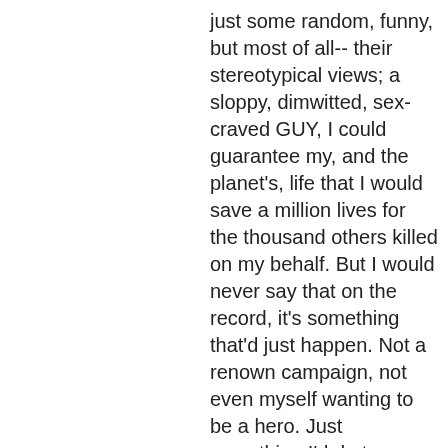just some random, funny, but most of all-- their stereotypical views; a sloppy, dimwitted, sex-craved GUY, I could guarantee my, and the planet's, life that I would save a million lives for the thousand others killed on my behalf. But I would never say that on the record, it's something that'd just happen. Not a renown campaign, not even myself wanting to be a hero. Just something I'd do to pass the time. Would I kill one person to save a thousand, but thus lose 9 million, 899 thousand people? I can't answer that